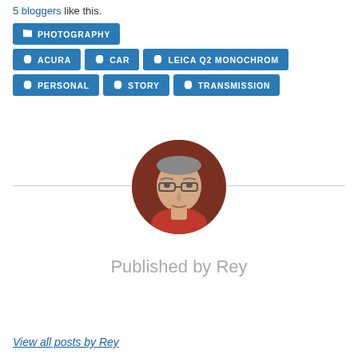5 bloggers like this.
PHOTOGRAPHY
ACURA
CAR
LEICA Q2 MONOCHROM
PERSONAL
STORY
TRANSMISSION
[Figure (photo): Circular profile photo of Rey, a man with glasses wearing a red hoodie, set against a dark red background]
Published by Rey
View all posts by Rey